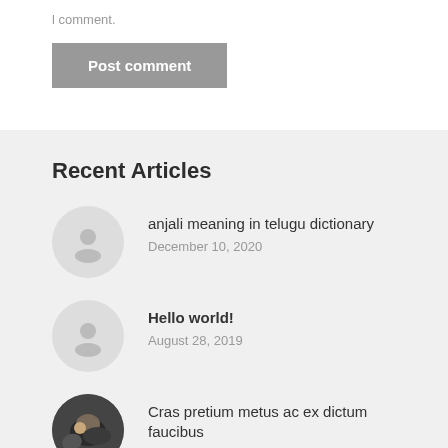l comment.
Post comment
Recent Articles
anjali meaning in telugu dictionary
December 10, 2020
Hello world!
August 28, 2019
Cras pretium metus ac ex dictum faucibus
May 19, 2016